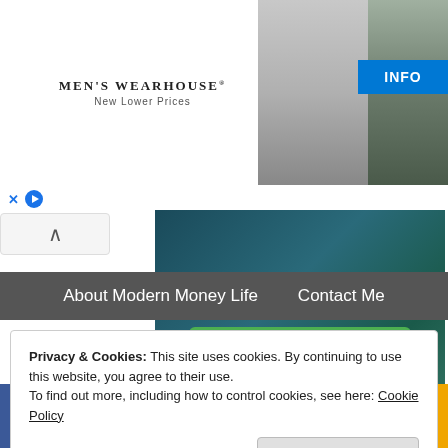[Figure (screenshot): Men's Wearhouse advertisement banner with logo 'MEN'S WEARHOUSE New Lower Prices', couple in formal wear, and individual in suit with INFO button]
[Figure (screenshot): Fiverr advertisement with text 'Millions of Gigs!' and green 'SHOP NOW!' button on dark teal background]
About Modern Money Life   Contact Me
Privacy & Cookies: This site uses cookies. By continuing to use this website, you agree to their use.
To find out more, including how to control cookies, see here: Cookie Policy
Close and accept
[Figure (screenshot): Social sharing bar with Facebook, Twitter, Pinterest, Mix, LinkedIn, Reddit, and share icons]